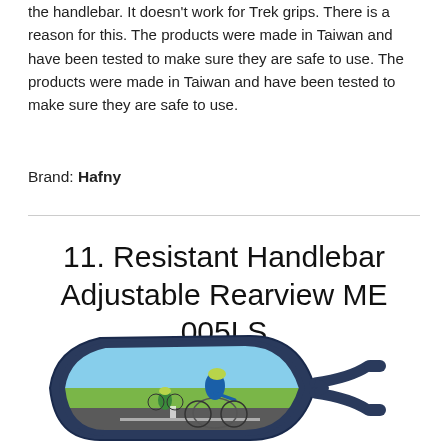the handlebar. It doesn't work for Trek grips. There is a reason for this. The products were made in Taiwan and have been tested to make sure they are safe to use. The products were made in Taiwan and have been tested to make sure they are safe to use.
Brand: Hafny
11. Resistant Handlebar Adjustable Rearview ME 005LS
[Figure (photo): A dark navy blue bicycle handlebar rearview mirror (Hafny ME 005LS) with a wide convex lens showing a reflection of two cyclists riding on a road under a blue sky.]